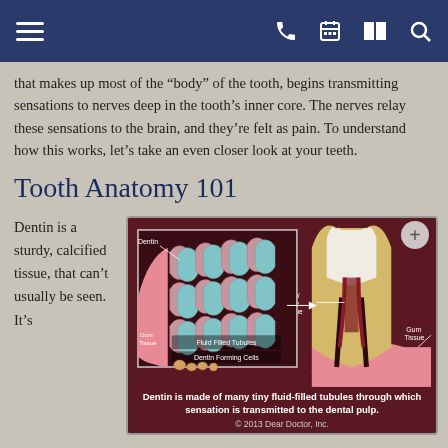Navigation bar with menu, phone, calendar, map, and search icons
that makes up most of the “body” of the tooth, begins transmitting sensations to nerves deep in the tooth’s inner core. The nerves relay these sensations to the brain, and they’re felt as pain. To understand how this works, let’s take an even closer look at your teeth.
Tooth Anatomy 101
Dentin is a sturdy, calcified tissue, that can’t usually be seen. It’s
[Figure (illustration): Cross-sectional anatomical illustration of a molar tooth showing dentin tubules (fluid-filled tubules and dentin forming cells labeled), pulp/nerve tissue, gum tissue, and a zoomed-in inset of the tubule structure. Caption: Dentin is made of many tiny fluid-filled tubules through which sensation is transmitted to the dental pulp. Copyright 2013 Dear Doctor, Inc.]